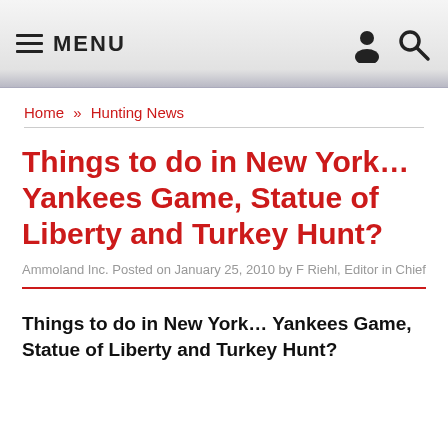≡ MENU
Home » Hunting News
Things to do in New York… Yankees Game, Statue of Liberty and Turkey Hunt?
Ammoland Inc. Posted on January 25, 2010 by F Riehl, Editor in Chief
Things to do in New York... Yankees Game, Statue of Liberty and Turkey Hunt?